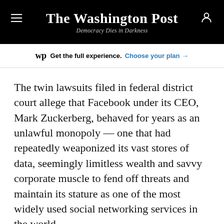The Washington Post — Democracy Dies in Darkness
Get the full experience. Choose your plan →
The twin lawsuits filed in federal district court allege that Facebook under its CEO, Mark Zuckerberg, behaved for years as an unlawful monopoly — one that had repeatedly weaponized its vast stores of data, seemingly limitless wealth and savvy corporate muscle to fend off threats and maintain its stature as one of the most widely used social networking services in the world.
The state and federal complaints chiefly challenge